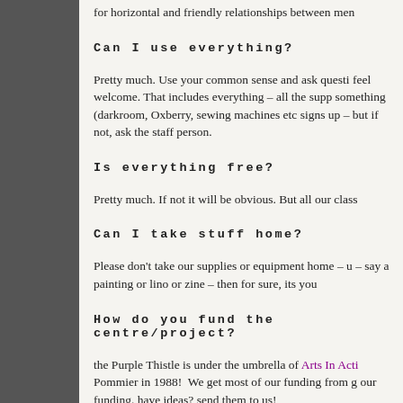for horizontal and friendly relationships between men
Can I use everything?
Pretty much. Use your common sense and ask questi feel welcome. That includes everything – all the supp something (darkroom, Oxberry, sewing machines etc signs up – but if not, ask the staff person.
Is everything free?
Pretty much. If not it will be obvious. But all our class
Can I take stuff home?
Please don't take our supplies or equipment home – u – say a painting or lino or zine – then for sure, its you
How do you fund the centre/project?
the Purple Thistle is under the umbrella of Arts In Acti Pommier in 1988!  We get most of our funding from g our funding. have ideas? send them to us!